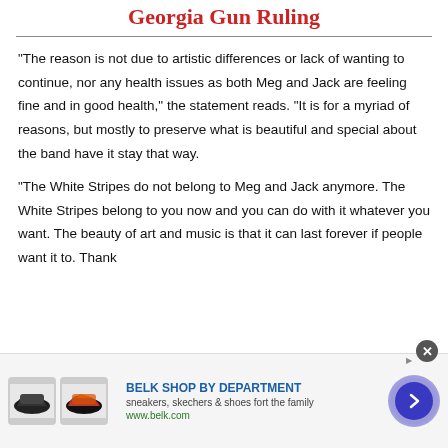Georgia Gun Ruling
“The reason is not due to artistic differences or lack of wanting to continue, nor any health issues as both Meg and Jack are feeling fine and in good health,” the statement reads. “It is for a myriad of reasons, but mostly to preserve what is beautiful and special about the band have it stay that way.
“The White Stripes do not belong to Meg and Jack anymore. The White Stripes belong to you now and you can do with it whatever you want. The beauty of art and music is that it can last forever if people want it to. Thank
[Figure (screenshot): Advertisement banner for Belk Shop By Department featuring sneakers and shoes. Shows two shoe product images, text 'BELK SHOP BY DEPARTMENT', subtext 'sneakers, skechers & shoes fort the family', URL 'www.belk.com', and a blue circular arrow button.]